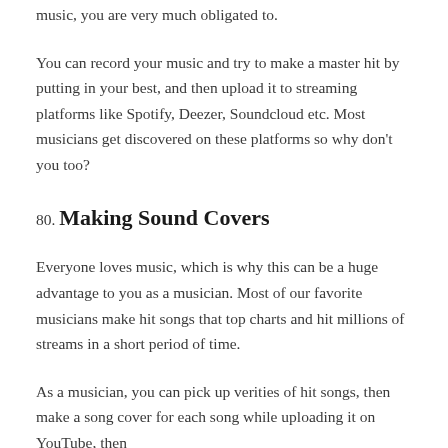music, you are very much obligated to.
You can record your music and try to make a master hit by putting in your best, and then upload it to streaming platforms like Spotify, Deezer, Soundcloud etc. Most musicians get discovered on these platforms so why don't you too?
80. Making Sound Covers
Everyone loves music, which is why this can be a huge advantage to you as a musician. Most of our favorite musicians make hit songs that top charts and hit millions of streams in a short period of time.
As a musician, you can pick up verities of hit songs, then make a song cover for each song while uploading it on YouTube, then